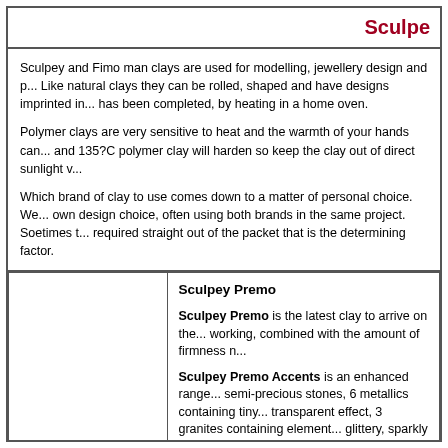Sculpey
Sculpey and Fimo man clays are used for modelling, jewellery design and p... Like natural clays they can be rolled, shaped and have designs imprinted in... has been completed, by heating in a home oven.

Polymer clays are very sensitive to heat and the warmth of your hands can... and 135?C polymer clay will harden so keep the clay out of direct sunlight v...

Which brand of clay to use comes down to a matter of personal choice. We... own design choice, often using both brands in the same project. Soetimes t... required straight out of the packet that is the determining factor.
|  | Product Info |
| --- | --- |
|  | Sculpey Premo

Sculpey Premo is the latest clay to arrive on the... working, combined with the amount of firmness n...

Sculpey Premo Accents is an enhanced range... semi-precious stones, 6 metallics containing tiny... transparent effect, 3 granites containing element... glittery, sparkly finish. |
|  | Fimo Soft Polymer Clay

Fimo Soft is ideal for children, due to the fact it... |